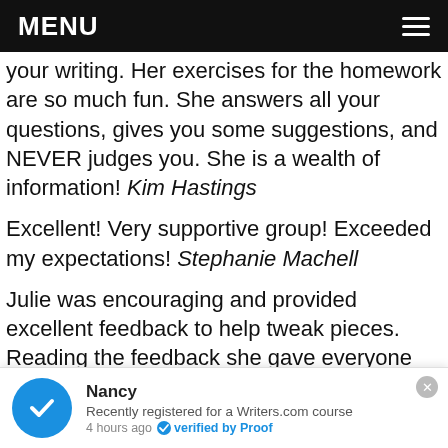MENU
your writing. Her exercises for the homework are so much fun. She answers all your questions, gives you some suggestions, and NEVER judges you. She is a wealth of information! Kim Hastings
Excellent! Very supportive group! Exceeded my expectations! Stephanie Machell
Julie was encouraging and provided excellent feedback to help tweak pieces. Reading the feedback she gave everyone helped me to see the factors that make for effective writing. I cannot recommend this course strongly enough. Fiona Rickards
Nancy
Recently registered for a Writers.com course
4 hours ago  verified by Proof